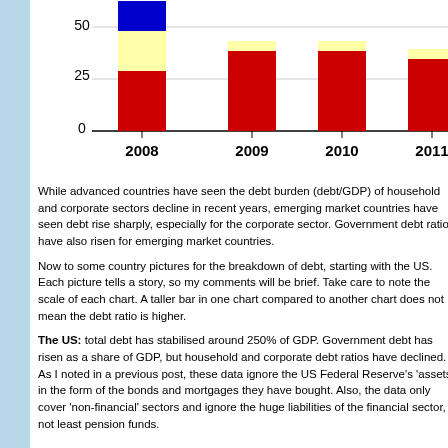[Figure (stacked-bar-chart): Debt/GDP by year (partial view)]
While advanced countries have seen the debt burden (debt/GDP) of household and corporate sectors decline in recent years, emerging market countries have seen debt rise sharply, especially for the corporate sector. Government debt ratios have also risen for emerging market countries.
Now to some country pictures for the breakdown of debt, starting with the US. Each picture tells a story, so my comments will be brief. Take care to note the scale of each chart. A taller bar in one chart compared to another chart does not mean the debt ratio is higher.
The US: total debt has stabilised around 250% of GDP. Government debt has risen as a share of GDP, but household and corporate debt ratios have declined. As I noted in a previous post, these data ignore the US Federal Reserve's 'assets' in the form of the bonds and mortgages they have bought. Also, the data only cover 'non-financial' sectors and ignore the huge liabilities of the financial sector, not least pension funds.